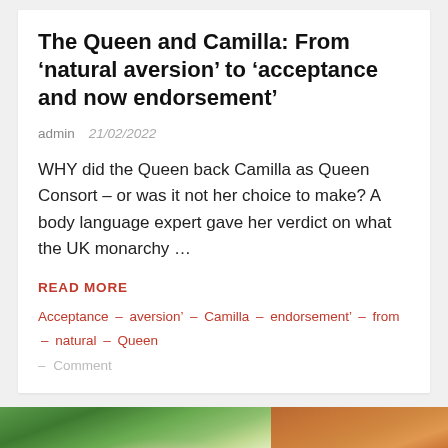The Queen and Camilla: From ‘natural aversion’ to ‘acceptance and now endorsement’
admin  21/02/2022
WHY did the Queen back Camilla as Queen Consort – or was it not her choice to make? A body language expert gave her verdict on what the UK monarchy …
READ MORE
Acceptance – aversion’ – Camilla – endorsement’ – from – natural – Queen
– Comment
[Figure (photo): Hand touching green spinach leaves – close-up photo]
[Figure (photo): Wooden surface texture – close-up photo]